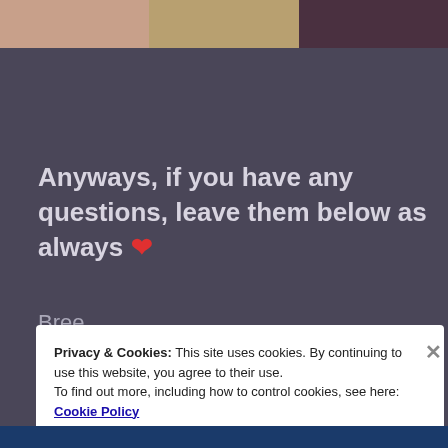[Figure (photo): Three photos in a horizontal strip at the top: a child with curly hair, a wooden floor or table surface, and colorful fabric/clothing]
Anyways, if you have any questions, leave them below as always ❤
Bree
Privacy & Cookies: This site uses cookies. By continuing to use this website, you agree to their use.
To find out more, including how to control cookies, see here: Cookie Policy
Close and accept